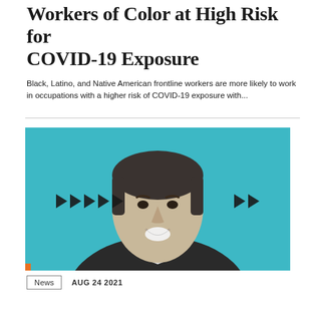Workers of Color at High Risk for COVID-19 Exposure
Black, Latino, and Native American frontline workers are more likely to work in occupations with a higher risk of COVID-19 exposure with...
[Figure (photo): Black and white portrait of a smiling man in a suit and white shirt, against a teal/cyan background with black arrow chevron shapes overlaid horizontally across the image.]
News  AUG 24 2021